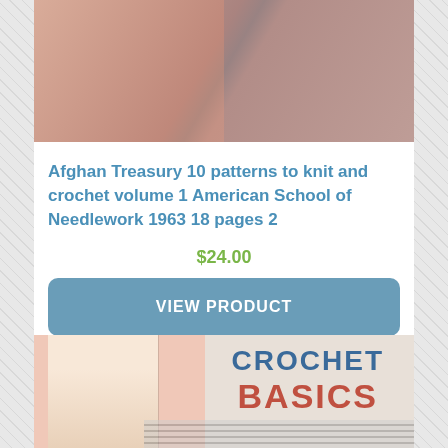[Figure (photo): Book cover image showing knitted/crocheted afghans — a pink triangular shawl on the left and a striped red/white/blue afghan on the right]
Afghan Treasury 10 patterns to knit and crochet volume 1 American School of Needlework 1963 18 pages 2
$24.00
VIEW PRODUCT
[Figure (photo): Book cover image showing 'Crochet Basics' — a person wearing a white crocheted top on the left, with large bold text 'CROCHET BASICS' on the right and a small bear/teddy in the lower right]